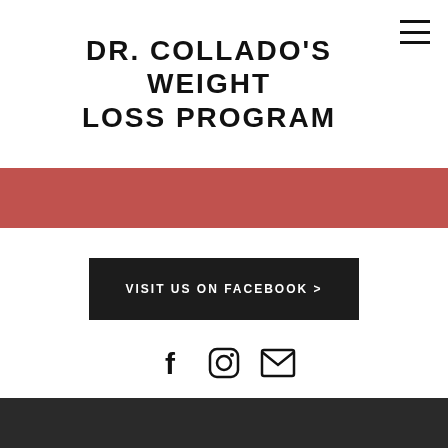DR. COLLADO'S WEIGHT LOSS PROGRAM
[Figure (other): Red horizontal banner/divider bar]
VISIT US ON FACEBOOK >
[Figure (other): Social media icons: Facebook, Instagram, Email]
[Figure (other): Dark footer area]